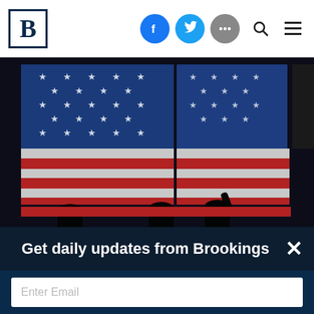Brookings Institution website header with logo B, Facebook, Twitter, more, search, and menu icons
[Figure (photo): A large LED display showing a pixelated American flag (stars and stripes in red, white, and blue) with silhouettes of people visible at the bottom]
On June 22, the Center for Technology Innovation will host a conversation with two of the lead architects of the election...Tim Wu and...White
Get daily updates from Brookings
Enter Email